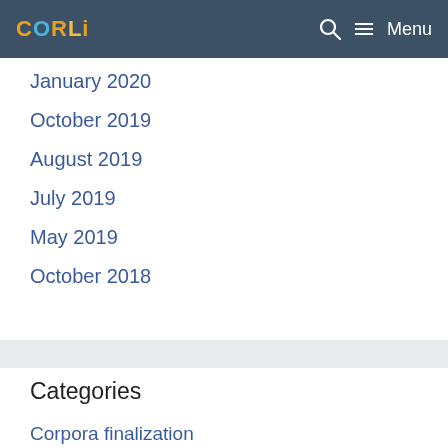CORLI Menu
January 2020
October 2019
August 2019
July 2019
May 2019
October 2018
Categories
Corpora finalization
Metadata